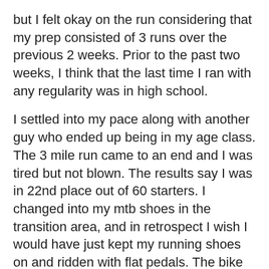but I felt okay on the run considering that my prep consisted of 3 runs over the previous 2 weeks. Prior to the past two weeks, I think that the last time I ran with any regularity was in high school.
I settled into my pace along with another guy who ended up being in my age class. The 3 mile run came to an end and I was tired but not blown. The results say I was in 22nd place out of 60 starters. I changed into my mtb shoes in the transition area, and in retrospect I wish I would have just kept my running shoes on and ridden with flat pedals. The bike portion was only 3 miles in length, and I doubt I gained back the minute or so it took me to take off my gloves, change my shoes, and put my gloves back on.
I got on the bike and was instantly passing people. It felt good to be back in my element. I was cruising along at about 20-25 mph on the packed snow thinking to myself, "dang, I'm passing a bunch of people! I might actually do okay here! In fact, I'm pretty freaking aweso..." suddenly I'm supermanning through the air. My front wheel had broken through the top layer of snow, and instantly sunk down to my hub and